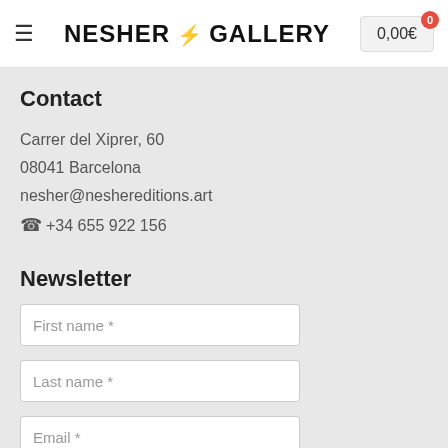NESHER : GALLERY  0,00€ 0
Contact
Carrer del Xiprer, 60
08041 Barcelona
nesher@neshereditions.art
☎ +34 655 922 156
Newsletter
First name *
Last name *
Email *